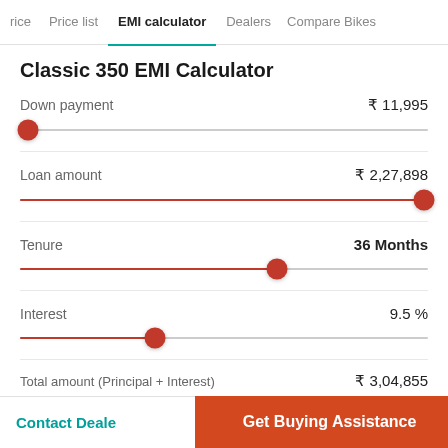rice  Price list  EMI calculator  Dealers  Compare Bikes
Classic 350 EMI Calculator
Down payment  ₹ 11,995
Loan amount  ₹ 2,27,898
Tenure  36 Months
Interest  9.5 %
Total amount (Principal + Interest)  ₹ 3,04,855
Contact Dealer  Get Buying Assistance